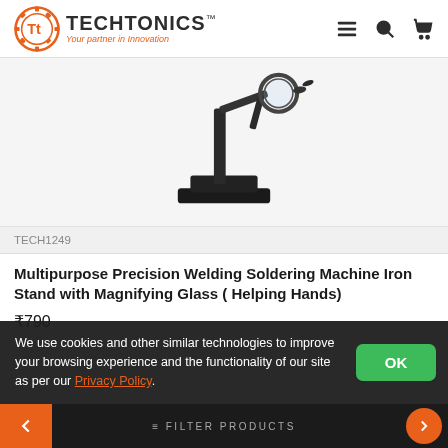TECHTONICS™ Your partner in Innovation
[Figure (photo): Black soldering iron stand / helping hands tool with magnifying glass attachment, photographed on white background]
TECH1249
Multipurpose Precision Welding Soldering Machine Iron Stand with Magnifying Glass ( Helping Hands)
₹790
We use cookies and other similar technologies to improve your browsing experience and the functionality of our site as per our Privacy Policy.
FILTER PRODUCTS